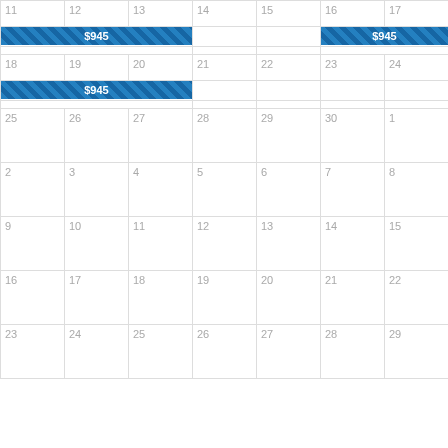| 11 | 12 | 13 | 14 | 15 | 16 | 17 |
| $945 (spans 11-13) |  |  |  |  | $945 (spans 16-17) |  |
| 18 | 19 | 20 | 21 | 22 | 23 | 24 |
| $945 (spans 18-20) |  |  |  |  |  |  |
| 25 | 26 | 27 | 28 | 29 | 30 | 1 |
| 2 | 3 | 4 | 5 | 6 | 7 | 8 |
| 9 | 10 | 11 | 12 | 13 | 14 | 15 |
| 16 | 17 | 18 | 19 | 20 | 21 | 22 |
| 23 | 24 | 25 | 26 | 27 | 28 | 29 |